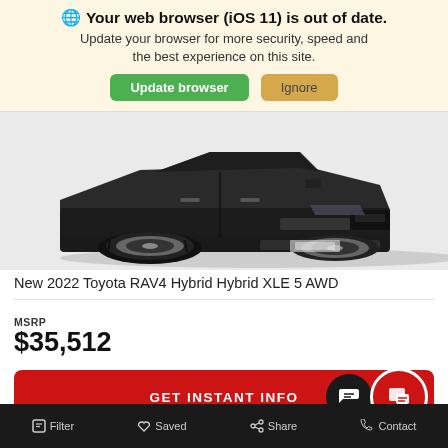🌐 Your web browser (iOS 11) is out of date. Update your browser for more security, speed and the best experience on this site. Update browser   Ignore
[Figure (photo): Front/side view of a dark gray/black 2022 Toyota RAV4 Hybrid SUV, showing the front fascia, wheels, and part of the body, on a light gray background.]
New 2022 Toyota RAV4 Hybrid Hybrid XLE 5 AWD
MSRP
$35,512
GET INSTANT INFO
Filter   Saved   Share   Contact